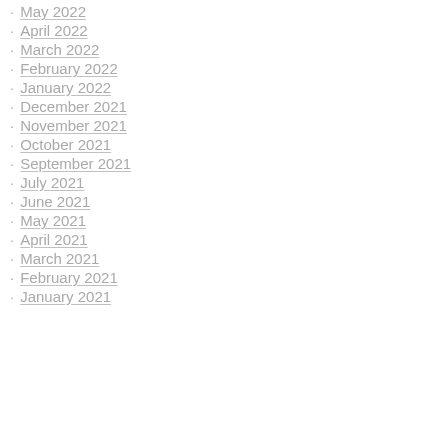May 2022
April 2022
March 2022
February 2022
January 2022
December 2021
November 2021
October 2021
September 2021
July 2021
June 2021
May 2021
April 2021
March 2021
February 2021
January 2021